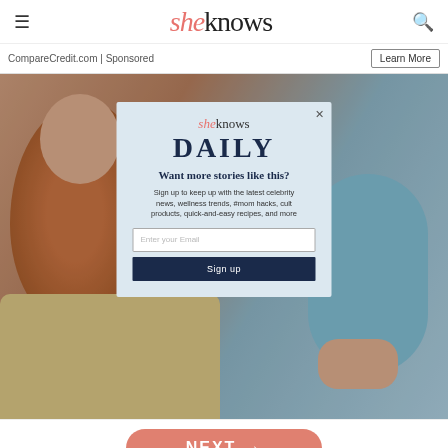sheknows
CompareCredit.com | Sponsored
[Figure (photo): Woman with red hair looking at a blue mirror/paddle, seated in a dental or styling chair, blurred background]
sheknows DAILY
Want more stories like this?
Sign up to keep up with the latest celebrity news, wellness trends, #mom hacks, cult products, quick-and-easy recipes, and more
Enter your Email
Sign up
NEXT →